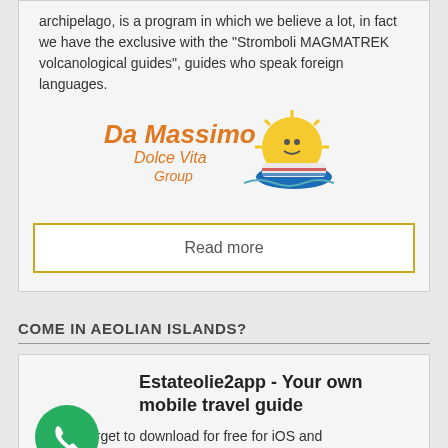archipelago, is a program in which we believe a lot, in fact we have the exclusive with the "Stromboli MAGMATREK volcanological guides", guides who speak foreign languages.
[Figure (logo): Da Massimo Dolce Vita Group logo with sun and boat illustration]
Read more
COME IN AEOLIAN ISLANDS?
Estateolie2app - Your own mobile travel guide
Do not forget to download for free for iOS and